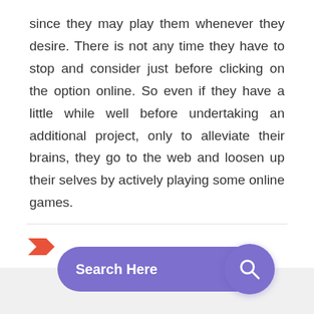since they may play them whenever they desire. There is not any time they have to stop and consider just before clicking on the option online. So even if they have a little while well before undertaking an additional project, only to alleviate their brains, they go to the web and loosen up their selves by actively playing some online games.
[Figure (other): Red tag/label icon SVG]
[Figure (other): Purple search bar with search icon circle button labeled 'Search Here']